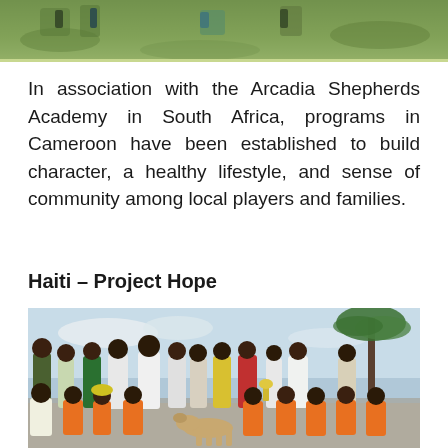[Figure (photo): Partial top photo showing green grass field with people playing outdoors]
In association with the Arcadia Shepherds Academy in South Africa, programs in Cameroon have been established to build character, a healthy lifestyle, and sense of community among local players and families.
Haiti – Project Hope
[Figure (photo): Group photo of young people and children in Haiti, many wearing orange soccer jerseys, posing together outdoors with palm trees in the background. A dog is visible in front of the group.]